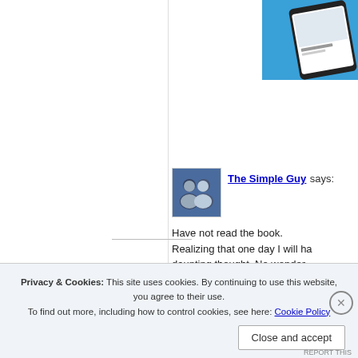[Figure (photo): Blue background with a smartphone showing a book app, partially visible in top right corner]
The Simple Guy says:
Have not read the book. Realizing that one day I will ha... daunting thought. No wonder... My number one job in life is to... is the reality. Stepping back and letting Him... have ever had in my life. She...
Good post.
Privacy & Cookies: This site uses cookies. By continuing to use this website, you agree to their use. To find out more, including how to control cookies, see here: Cookie Policy
Close and accept